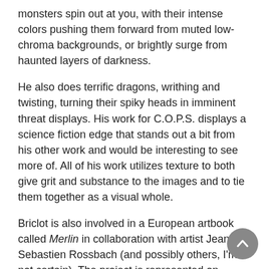monsters spin out at you, with their intense colors pushing them forward from muted low-chroma backgrounds, or brightly surge from haunted layers of darkness.
He also does terrific dragons, writhing and twisting, turning their spiky heads in imminent threat displays. His work for C.O.P.S. displays a science fiction edge that stands out a bit from his other work and would be interesting to see more of. All of his work utilizes texture to both give grit and substance to the images and to tie them together as a visual whole.
Briclot is also involved in a European artbook called Merlin in collaboration with artist Jean-Sebastien Rossbach (and possibly others, I'm not certain). The project is represented on MySpace as if it were Merlin's own MySpace page.